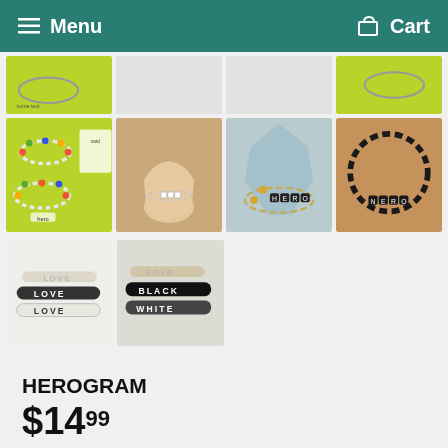Menu  Cart
[Figure (photo): Row of partially visible product thumbnail images of bead bracelets on green and cork backgrounds (cropped top row)]
[Figure (photo): Colorful beaded bracelets with letter beads on bright green background]
[Figure (photo): Delicate chain anklet on a person's ankle on cork background]
[Figure (photo): Bracelet with gold beads spelling HERO on blue-gray stone surface]
[Figure (photo): Black beaded bracelet spelling NERO on cork background]
[Figure (photo): Three bracelets stacked reading LOVE LOVE LOVE on white/cream background]
[Figure (photo): Three bracelets reading GOLD BLACK WHITE on light background]
HEROGRAM
$14.99